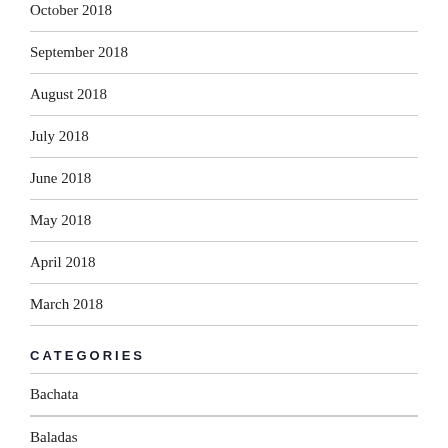October 2018
September 2018
August 2018
July 2018
June 2018
May 2018
April 2018
March 2018
CATEGORIES
Bachata
Baladas